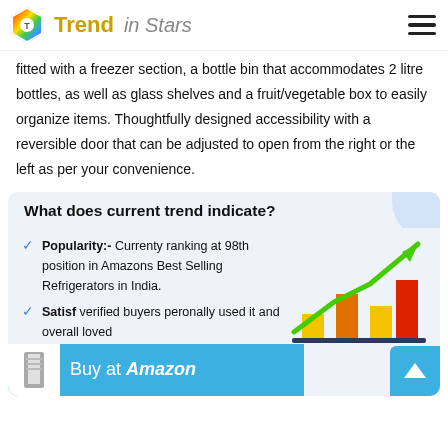Trend in Stars
fitted with a freezer section, a bottle bin that accommodates 2 litre bottles, as well as glass shelves and a fruit/vegetable box to easily organize items.  Thoughtfully designed accessibility with a reversible door that can be adjusted to open from the right or the left as per your convenience.
What does current trend indicate?
Popularity:- Currenty ranking at 98th position in Amazons Best Selling Refrigerators in India.
[Figure (bar-chart): Bar chart with upward trending arrow showing increasing bar heights, colored gold/orange/red, with a green upward arrow overlay]
Satisf... verified buyers peronally used it and overall loved
[Figure (infographic): Buy at Amazon banner with refrigerator icon and Amazon branding in blue]